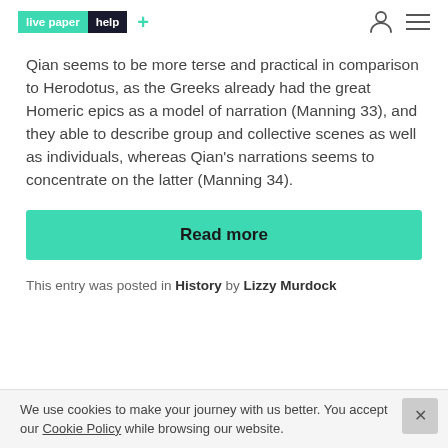live paper help +
Qian seems to be more terse and practical in comparison to Herodotus, as the Greeks already had the great Homeric epics as a model of narration (Manning 33), and they able to describe group and collective scenes as well as individuals, whereas Qian's narrations seems to concentrate on the latter (Manning 34).
Read more
This entry was posted in History by Lizzy Murdock
We use cookies to make your journey with us better. You accept our Cookie Policy while browsing our website.